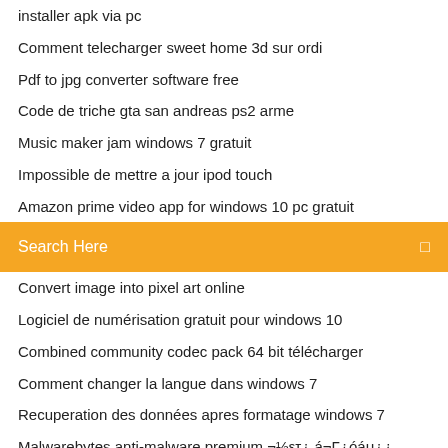installer apk via pc
Comment telecharger sweet home 3d sur ordi
Pdf to jpg converter software free
Code de triche gta san andreas ps2 arme
Music maker jam windows 7 gratuit
Impossible de mettre a jour ipod touch
Amazon prime video app for windows 10 pc gratuit
Search Here
Convert image into pixel art online
Logiciel de numérisation gratuit pour windows 10
Combined community codec pack 64 bit télécharger
Comment changer la langue dans windows 7
Recuperation des données apres formatage windows 7
Malwarebytes anti-malware premium ¬½ετ¿ á¬Γ¿óáμ¿¿ 2020
Comment jouer a gta 5 rp 2020
Telecharger jeux android gratuit pour tablette condor
Convertir pdf en excel gratuit online